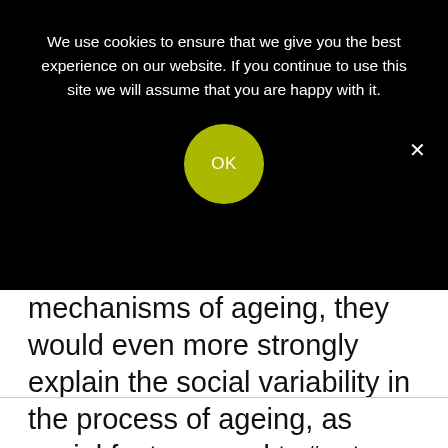[Figure (screenshot): Cookie consent overlay banner on a black background with OK button and close X button. Text reads: 'We use cookies to ensure that we give you the best experience on our website. If you continue to use this site we will assume that you are happy with it.' with a yellow-green circular OK button.]
mechanisms of ageing, they would even more strongly explain the social variability in the process of ageing, as social factors need to “get under the skin” through biology.’